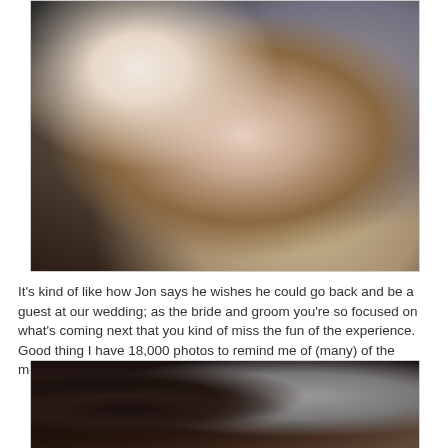[Figure (photo): A person holding a newborn baby wrapped in a floral blanket and wearing a striped hospital hat. The baby's face is visible and the adult's hands show a ring and bracelet. Another person in a gray shirt is visible in the background.]
It's kind of like how Jon says he wishes he could go back and be a guest at our wedding; as the bride and groom you're so focused on what's coming next that you kind of miss the fun of the experience. Good thing I have 18,000 photos to remind me of (many) of the moments from this year.
[Figure (photo): A person with dark hair wearing a gray shirt, photographed from above or at close range, partially cropped.]